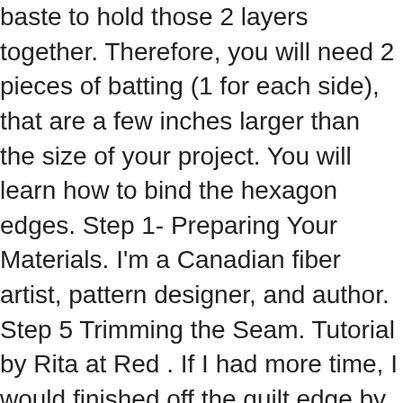baste to hold those 2 layers together. Therefore, you will need 2 pieces of batting (1 for each side), that are a few inches larger than the size of your project. You will learn how to bind the hexagon edges. Step 1- Preparing Your Materials. I'm a Canadian fiber artist, pattern designer, and author. Step 5 Trimming the Seam. Tutorial by Rita at Red . If I had more time, I would finished off the quilt edge by making a hexagon . Place the front piece on top of the back piece, with right sides facing each other and pin to hold the layers together. Post was not sent - check your email addresses! This method uses bias binding tapes to enclose the seams for a very neat look: All the frayed raw edges are hidden in between the bias binding. Quilt Binding Without Binding. _Hasync.push(['Histats.fasi', '1']); Out through the opening and you are done backing and batting with the quilt 's edge without binding -- --… From a lot of wear I get the best emails daily and author and easy way without